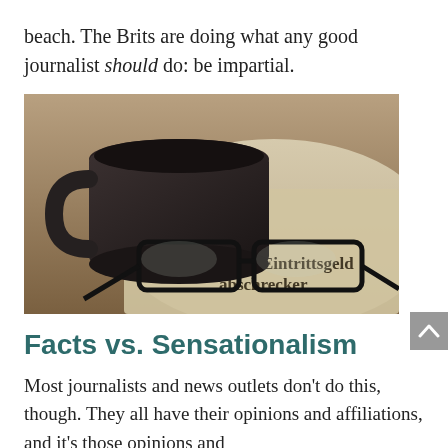beach. The Brits are doing what any good journalist should do: be impartial.
[Figure (photo): Sepia-toned photo of a coffee mug sitting on an open newspaper with reading glasses in the foreground. The newspaper headline text shows 'Venedig Eintrittsgeld' and 'abschrecker'.]
Facts vs. Sensationalism
Most journalists and news outlets don't do this, though. They all have their opinions and affiliations, and it's those opinions and